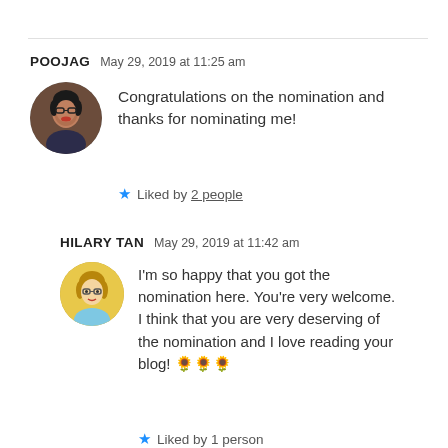POOJAG   May 29, 2019 at 11:25 am
Congratulations on the nomination and thanks for nominating me!
★ Liked by 2 people
HILARY TAN   May 29, 2019 at 11:42 am
I'm so happy that you got the nomination here. You're very welcome. I think that you are very deserving of the nomination and I love reading your blog! 🌻🌻🌻
★ Liked by 1 person